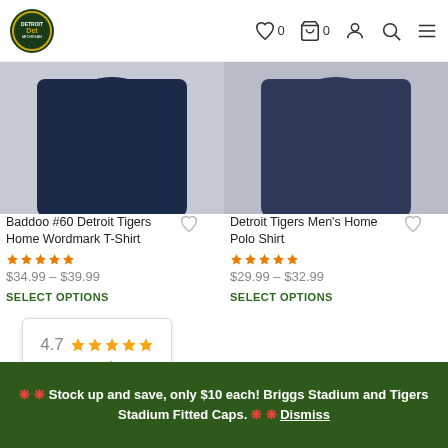Detroit Tigers store header navigation with logo, wishlist (0), cart (0), account, search, and menu icons
[Figure (photo): Navy blue Detroit Tigers Home Wordmark T-Shirt product image]
Baddoo #60 Detroit Tigers Home Wordmark T-Shirt
★★★★★
$34.99 – $39.99
SELECT OPTIONS
[Figure (photo): Navy blue Detroit Tigers Men's Home Polo Shirt product image]
Detroit Tigers Men's Home Polo Shirt
★★★★★
$29.99 – $32.99
SELECT OPTIONS
[Figure (other): Google rating widget showing 4.7 stars with orange stars and Google logo]
[Figure (photo): Gray fitted caps partially visible at bottom of page]
❋ ❋ Stock up and save, only $10 each! Briggs Stadium and Tigers Stadium Fitted Caps. ❋ ❋ Dismiss